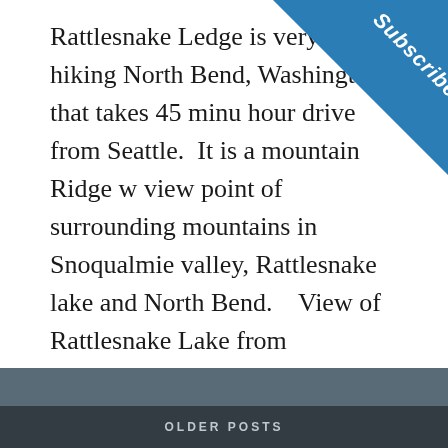Rattlesnake Ledge is very popular hiking North Bend, Washington that takes 45 minu hour drive from Seattle.  It is a mountain Ridge w view point of surrounding mountains in Snoqualmie valley, Rattlesnake lake and North Bend.    View of Rattlesnake Lake from Rattlesnake Ledge top Rattlesnake lake is part of Rattlesnake ...
[Figure (other): Blue triangle subscribe banner in top-right corner with 'Subscribe' text in white italic bold]
CONTINUE READING →
OLDER POSTS